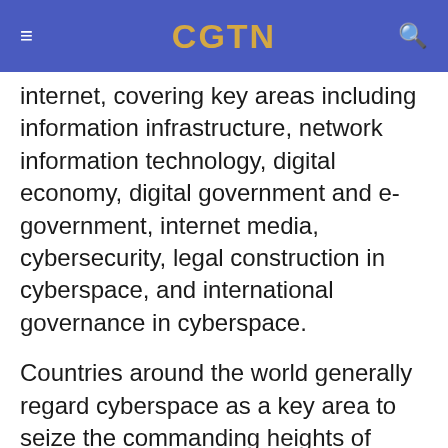CGTN
internet, covering key areas including information infrastructure, network information technology, digital economy, digital government and e-government, internet media, cybersecurity, legal construction in cyberspace, and international governance in cyberspace.
Countries around the world generally regard cyberspace as a key area to seize the commanding heights of future development and build new advantages in international competition, pointed out the World Internet Development Report. The world internet has shown an overall trend of seeking common ground in cooperation, advancing despite